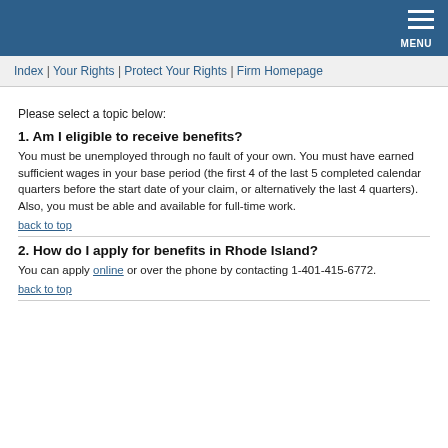MENU
Index | Your Rights | Protect Your Rights | Firm Homepage
Please select a topic below:
1. Am I eligible to receive benefits?
You must be unemployed through no fault of your own. You must have earned sufficient wages in your base period (the first 4 of the last 5 completed calendar quarters before the start date of your claim, or alternatively the last 4 quarters). Also, you must be able and available for full-time work.
back to top
2. How do I apply for benefits in Rhode Island?
You can apply online or over the phone by contacting 1-401-415-6772.
back to top